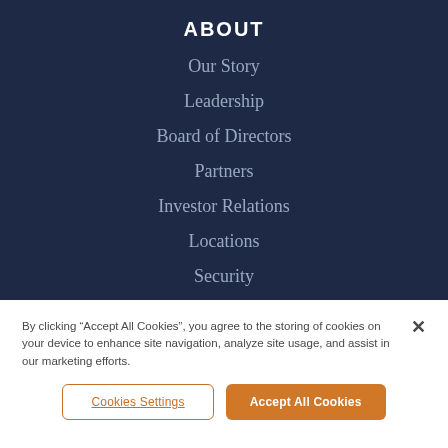ABOUT
Our Story
Leadership
Board of Directors
Partners
Investor Relations
Locations
Security
By clicking “Accept All Cookies”, you agree to the storing of cookies on your device to enhance site navigation, analyze site usage, and assist in our marketing efforts.